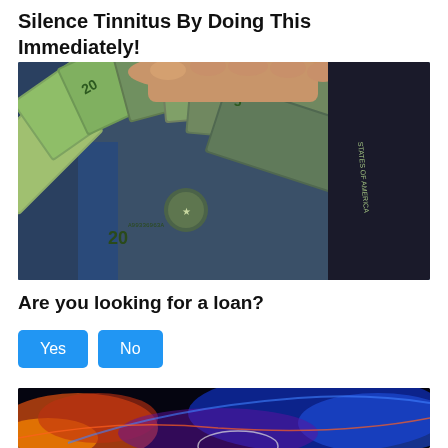Silence Tinnitus By Doing This Immediately!
[Figure (photo): Hands holding a fan of US dollar bills ($20, $10, $5 denominations) spread out, close-up photo]
Are you looking for a loan?
Yes  No
[Figure (photo): Abstract colorful light streaks in orange, red, blue and purple on dark background, possibly representing pain or energy]